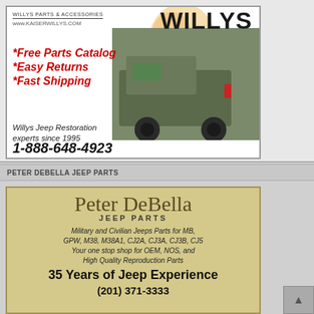[Figure (illustration): Kaiser Willys advertisement with Willys Jeep restoration parts. Features text: WILLYS PARTS & ACCESSORIES, www.KAISERWILLYS.com, *Free Parts Catalog, *Easy Returns, *Fast Shipping, Willys Jeep Restoration experts since 1995, 1-888-648-4923. Has image of green military Jeep.]
PETER DEBELLA JEEP PARTS
[Figure (illustration): Peter DeBella Jeep Parts advertisement. Text reads: Peter DeBella JEEP PARTS, Military and Civilian Jeeps Parts for MB, GPW, M38, M38A1, CJ2A, CJ3A, CJ3B, CJ5, Your one stop shop for OEM, NOS, and High Quality Reproduction Parts, 35 Years of Jeep Experience. Phone number partially visible.]